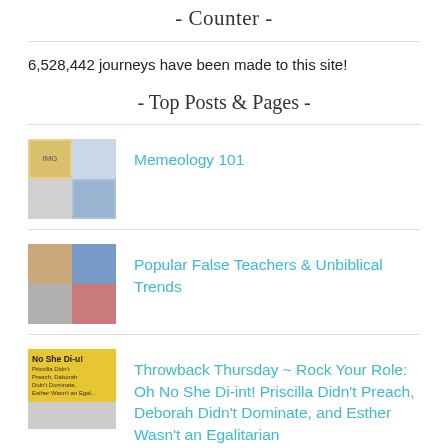- Counter -
6,528,442 journeys have been made to this site!
- Top Posts & Pages -
Memeology 101
Popular False Teachers & Unbiblical Trends
Throwback Thursday ~ Rock Your Role: Oh No She Di-int! Priscilla Didn't Preach, Deborah Didn't Dominate, and Esther Wasn't an Egalitarian